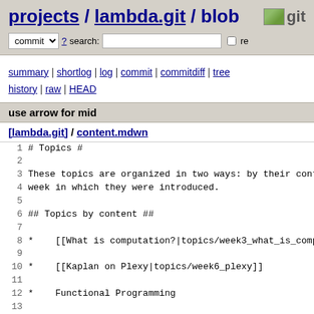projects / lambda.git / blob
commit ? search: re
summary | shortlog | log | commit | commitdiff | tree history | raw | HEAD
use arrow for mid
[lambda.git] / content.mdwn
1  # Topics #
2
3  These topics are organized in two ways: by their conten
4  week in which they were introduced.
5
6  ## Topics by content ##
7
8  *    [[What is computation?|topics/week3_what_is_computa
9
10 *    [[Kaplan on Plexy|topics/week6_plexy]]
11
12 *    Functional Programming
13
14      *    [[Introduction|topics/week1 kapulet intro]]
15      *    [[Week 1 Advanced notes|topics/week1 kapulet ad
16      *    [["Rosetta Stone" page #1 for Kaupulet, Scheme,
17      *    Offsite links for help on [[learning Scheme]],
18      *    [[List Comprehensions|topics/week3 lists#compre
19      *    [[Unit and its usefulness|topics/week3 unit]]